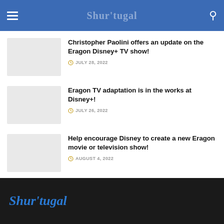Shur'tugal
Christopher Paolini offers an update on the Eragon Disney+ TV show!
JULY 28, 2022
Eragon TV adaptation is in the works at Disney+!
JULY 26, 2022
Help encourage Disney to create a new Eragon movie or television show!
AUGUST 4, 2022
Shur'tugal